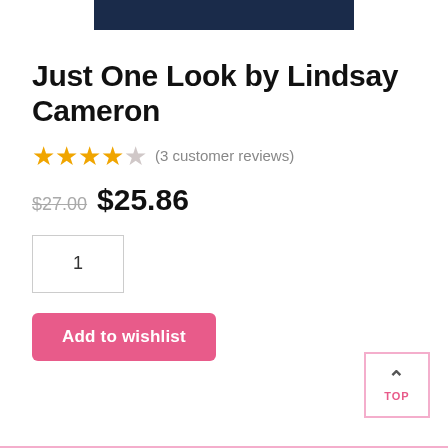[Figure (other): Dark navy blue banner image at the top of the page]
Just One Look by Lindsay Cameron
★★★★☆ (3 customer reviews)
$27.00  $25.86
1
Add to wishlist
TOP